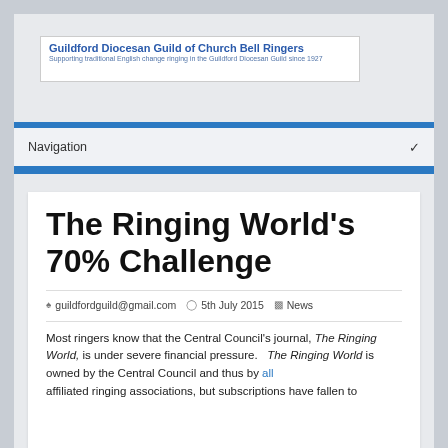Guildford Diocesan Guild of Church Bell Ringers — Supporting traditional English change ringing in the Guildford Diocesan Guild since 1927
Navigation
The Ringing World's 70% Challenge
guildfordguild@gmail.com  5th July 2015  News
Most ringers know that the Central Council's journal, The Ringing World, is under severe financial pressure.  The Ringing World is owned by the Central Council and thus by all affiliated ringing associations, but subscriptions have fallen to